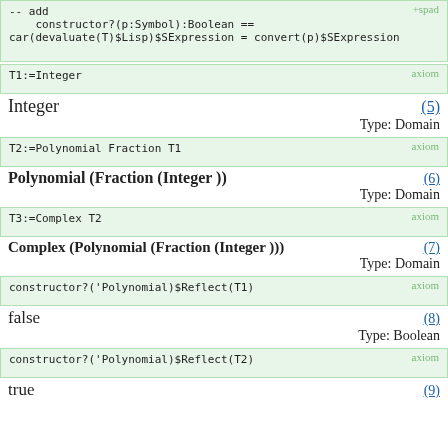-- add
    constructor?(p:Symbol):Boolean ==
car(devaluate(T)$Lisp)$SExpression = convert(p)$SExpression
+spad
T1:=Integer   axiom
Integer   (5)
Type: Domain
T2:=Polynomial Fraction T1   axiom
Polynomial (Fraction (Integer ))   (6)
Type: Domain
T3:=Complex T2   axiom
Complex (Polynomial (Fraction (Integer )))   (7)
Type: Domain
constructor?('Polynomial)$Reflect(T1)   axiom
false   (8)
Type: Boolean
constructor?('Polynomial)$Reflect(T2)   axiom
true   (9)